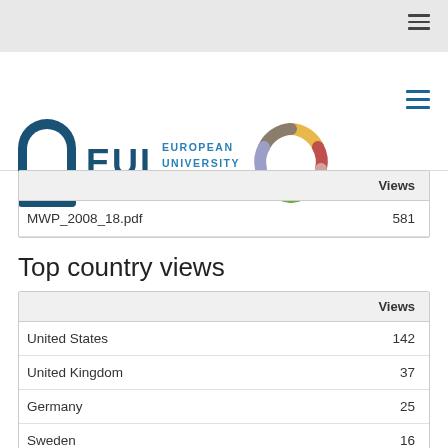[Figure (logo): EUI (European University Institute) logo with blue arch icon, EUI text, institute name, and colorful C-shaped logo]
|  | Views |
| --- | --- |
| MWP_2008_18.pdf | 581 |
Top country views
|  | Views |
| --- | --- |
| United States | 142 |
| United Kingdom | 37 |
| Germany | 25 |
| Sweden | 16 |